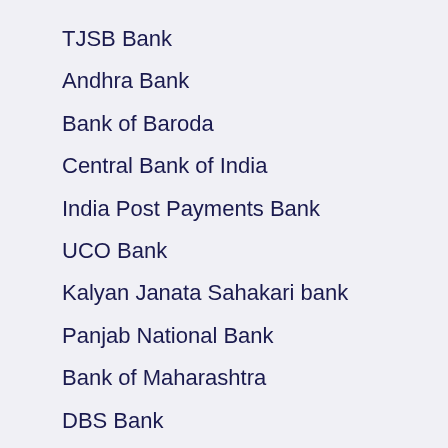TJSB Bank
Andhra Bank
Bank of Baroda
Central Bank of India
India Post Payments Bank
UCO Bank
Kalyan Janata Sahakari bank
Panjab National Bank
Bank of Maharashtra
DBS Bank
Yes Bank
Dena Bank